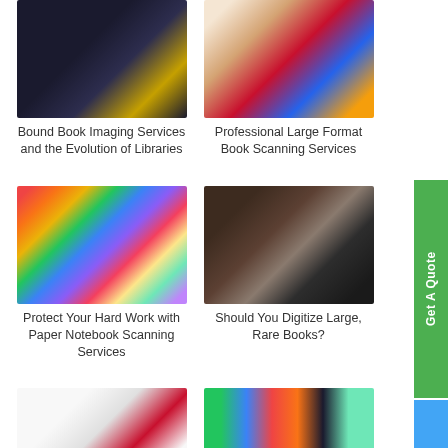[Figure (photo): Book scanner with open book, dark background]
Bound Book Imaging Services and the Evolution of Libraries
[Figure (photo): Open book pages fanning out with colorful books on shelf in background]
Professional Large Format Book Scanning Services
[Figure (photo): Stack of colorful notebooks with multicolored book spines in background]
Protect Your Hard Work with Paper Notebook Scanning Services
[Figure (photo): Person using large format book scanner in library]
Should You Digitize Large, Rare Books?
[Figure (photo): Open book with red bookmark]
[Figure (photo): Row of colorful textbooks on shelf with letter spines]